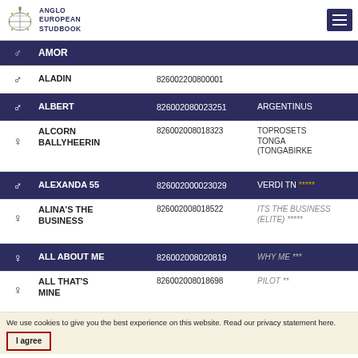Anglo European Studbook
| Gender | Name | ID | Sire |
| --- | --- | --- | --- |
| ♂ | AMOR |  |  |
| ♂ | ALADIN | 826002200800001 |  |
| ♂ | ALBERT | 826002080023251 | ARGENTINUS |
| ♀ | ALCORN BALLYHEERIN | 826002008018323 | TOPROSETS TONGA (TONGABIRKE |
| ♂ | ALEXANDA 55 | 826002000023029 | VERDI TN ***** |
| ♀ | ALINA'S THE BUSINESS | 826002008018522 | ITS THE BUSINESS (ELITE) ***** |
| ♀ | ALL ABOUT ME | 826002008020819 | WHY ME *** |
| ♀ | ALL THAT'S MINE | 826002008018698 | PILOT ** |
We use cookies to give you the best experience on this website. Read our privacy statement here.
I agree